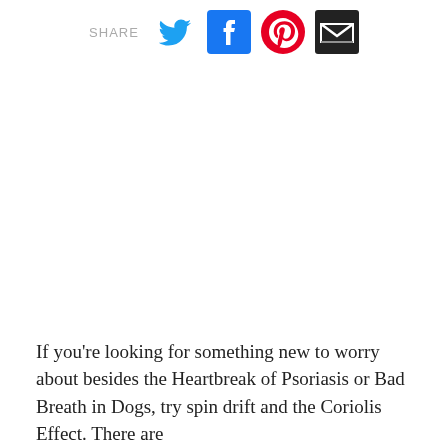[Figure (other): Social share bar with SHARE label and icons for Twitter (blue bird), Facebook (blue f), Pinterest (red circle P), and Email (black envelope)]
If you're looking for something new to worry about besides the Heartbreak of Psoriasis or Bad Breath in Dogs, try spin drift and the Coriolis Effect. There are